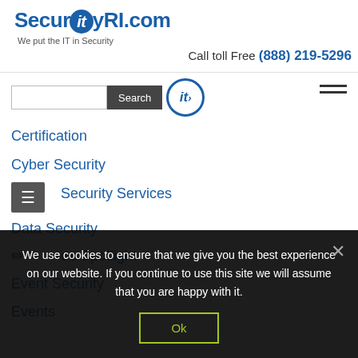[Figure (logo): SecurityRI.com logo — blue bold text with 'it' in a blue circle, tagline: We put the IT in Security]
Call toll Free (888) 219-5296
Search [search box] [Search button] [it icon]
Certification
Cyber Security
Security Services
Data Security
ee Spotlight
Event Security
Events
We use cookies to ensure that we give you the best experience on our website. If you continue to use this site we will assume that you are happy with it.
Ok